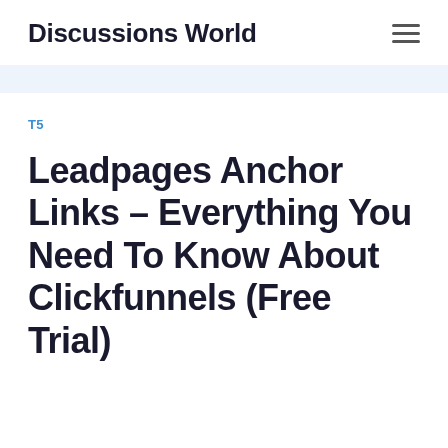Discussions World
T5
Leadpages Anchor Links – Everything You Need To Know About Clickfunnels (Free Trial)